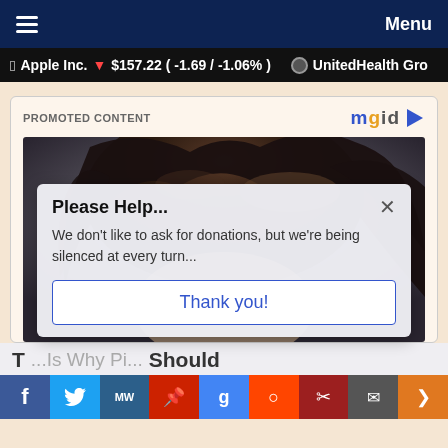≡   Menu
Apple Inc. ▼ $157.22 ( -1.69 / -1.06% )   ● UnitedHealth Gro
PROMOTED CONTENT
[Figure (photo): Close-up photo of a person with dark wavy hair, partially obscured by a popup modal dialog]
Please Help...
We don't like to ask for donations, but we're being silenced at every turn...
Thank you!
T  ...is Why Pi...  Should